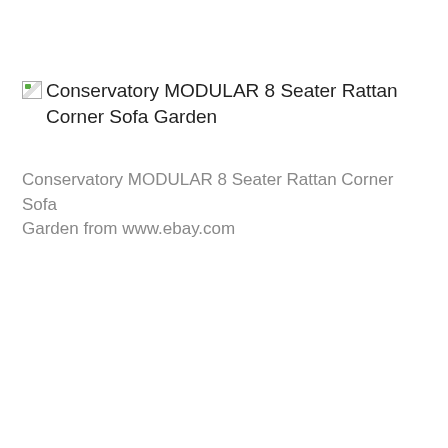Conservatory MODULAR 8 Seater Rattan Corner Sofa Garden
Conservatory MODULAR 8 Seater Rattan Corner Sofa Garden from www.ebay.com